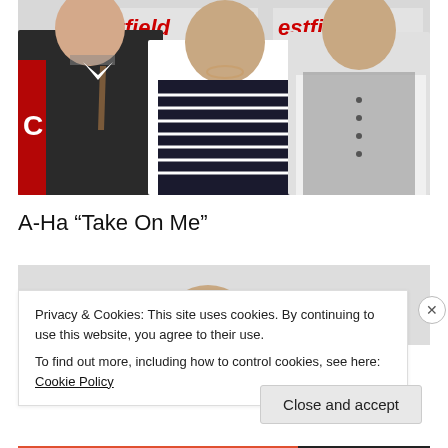[Figure (photo): Three men posing in front of a Westfield London backdrop. Left man wears dark suit with tie, center man wears navy striped sweater with necklace, right man wears white shirt with grey vest.]
A-Ha “Take On Me”
[Figure (photo): Partial photo of people, partially obscured by cookie consent banner.]
Privacy & Cookies: This site uses cookies. By continuing to use this website, you agree to their use.
To find out more, including how to control cookies, see here: Cookie Policy
Close and accept